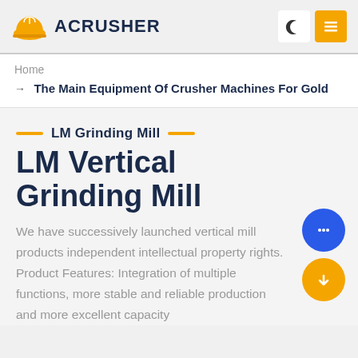ACRUSHER
Home
The Main Equipment Of Crusher Machines For Gold
LM Grinding Mill
LM Vertical Grinding Mill
We have successively launched vertical mill products independent intellectual property rights. Product Features: Integration of multiple functions, more stable and reliable production and more excellent capacity